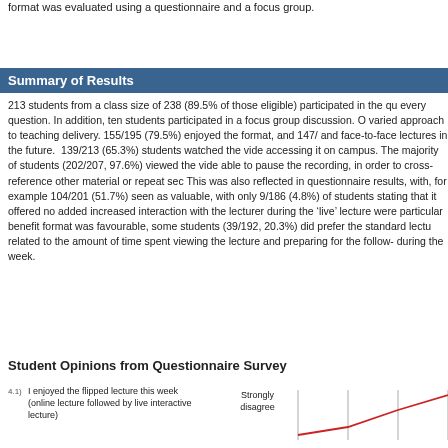format was evaluated using a questionnaire and a focus group.
Summary of Results
213 students from a class size of 238 (89.5% of those eligible) participated in the questionnaire, answering every question. In addition, ten students participated in a focus group discussion. Overall, students valued the varied approach to teaching delivery. 155/195 (79.5%) enjoyed the format, and 147/195 (75.4%) would like online and face-to-face lectures in the future. 139/213 (65.3%) students watched the video at home, with 74/213 (34.7%) accessing it on campus. The majority of students (202/207, 97.6%) viewed the video online and appreciated being able to pause the recording, in order to cross-reference other material or repeat sections they found difficult. This was also reflected in questionnaire results, with, for example 104/201 (51.7%) noting this. The format was seen as valuable, with only 9/186 (4.8%) of students stating that it offered no added value. Ability to self-pace and increased interaction with the lecturer during the 'live' lecture were particular benefits. Although the flipped format was favourable, some students (39/192, 20.3%) did prefer the standard lecture format. Main concerns were related to the amount of time spent viewing the lecture and preparing for the follow-on activities during the week.
Student Opinions from Questionnaire Survey
[Figure (line-chart): Partial view of a Likert-scale chart for question 4.1: 'I enjoyed the flipped lecture this week (online lecture followed by live interactive lecture)'. Shows a line graph with 'Strongly disagree' label on left axis and a red line trending upward to the right.]